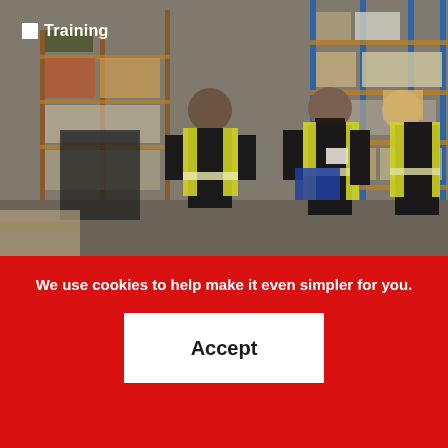[Figure (photo): Warehouse workers in yellow safety vests among tall storage racks with blue structural beams, boxes and pallets on shelves. One worker faces away, two others (one holding a clipboard/tablet) face the camera.]
Training
We use cookies to help make it even simpler for you.
Accept